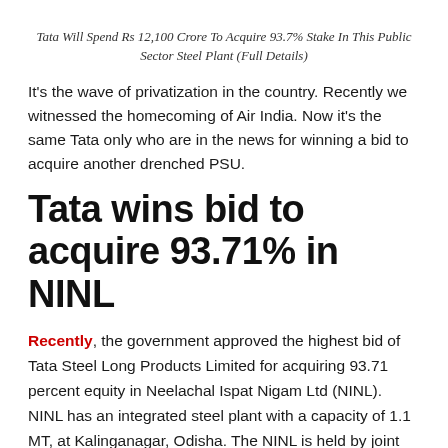Tata Will Spend Rs 12,100 Crore To Acquire 93.7% Stake In This Public Sector Steel Plant (Full Details)
It's the wave of privatization in the country. Recently we witnessed the homecoming of Air India. Now it's the same Tata only who are in the news for winning a bid to acquire another drenched PSU.
Tata wins bid to acquire 93.71% in NINL
Recently, the government approved the highest bid of Tata Steel Long Products Limited for acquiring 93.71 percent equity in Neelachal Ispat Nigam Ltd (NINL). NINL has an integrated steel plant with a capacity of 1.1 MT, at Kalinganagar, Odisha. The NINL is held by joint venture partners of four CPSEs and two Odisha government companies, at an enterprise value of Rs 12,100 crore.